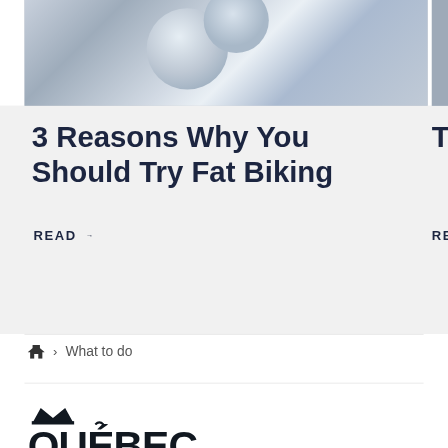[Figure (photo): Snowy winter scene, partial view, cropped at top. Shows snow and ice in blue-grey tones. A second partial image is cut off at right edge.]
3 Reasons Why You Should Try Fat Biking
READ →
Th... (partial title cut off at right)
REA... (partial READ cut off at right)
🏠 > What to do
[Figure (logo): Québec Cité logo with crown icon above, text QUÉBEC in bold uppercase, superscript 'cité', and tagline 'l'accent d'Amérique' below]
Contact Our Experts
1-877-783-1608